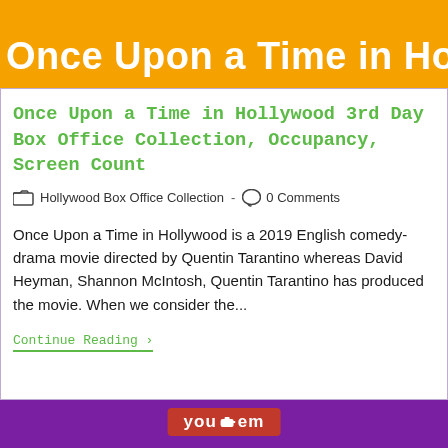Once Upon a Time in Hollywood
Once Upon a Time in Hollywood 3rd Day Box Office Collection, Occupancy, Screen Count
Hollywood Box Office Collection  -  0 Comments
Once Upon a Time in Hollywood is a 2019 English comedy-drama movie directed by Quentin Tarantino whereas David Heyman, Shannon McIntosh, Quentin Tarantino has produced the movie. When we consider the...
Continue Reading ›
[Figure (logo): YouDem logo in red box on purple background]